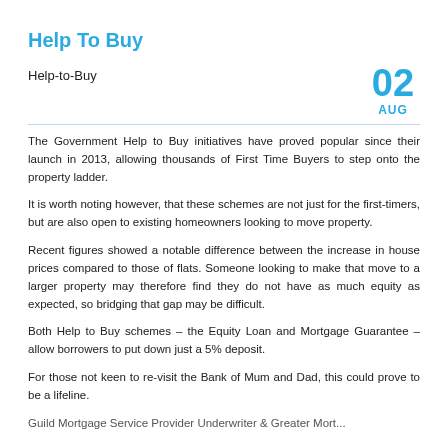Help To Buy
Help-to-Buy
The Government Help to Buy initiatives have proved popular since their launch in 2013, allowing thousands of First Time Buyers to step onto the property ladder.
It is worth noting however, that these schemes are not just for the first-timers, but are also open to existing homeowners looking to move property.
Recent figures showed a notable difference between the increase in house prices compared to those of flats. Someone looking to make that move to a larger property may therefore find they do not have as much equity as expected, so bridging that gap may be difficult.
Both Help to Buy schemes – the Equity Loan and Mortgage Guarantee – allow borrowers to put down just a 5% deposit.
For those not keen to re-visit the Bank of Mum and Dad, this could prove to be a lifeline.
Guild Mortgage Service Provider Underwriter & Greater Mort...